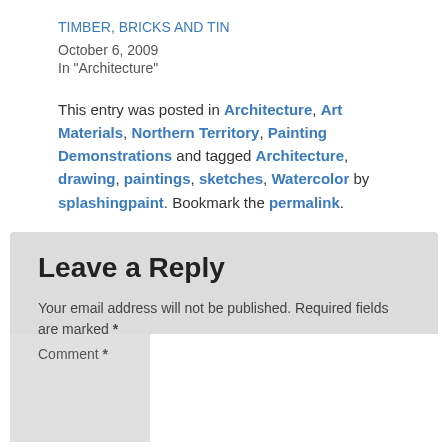TIMBER, BRICKS AND TIN
October 6, 2009
In "Architecture"
This entry was posted in Architecture, Art Materials, Northern Territory, Painting Demonstrations and tagged Architecture, drawing, paintings, sketches, Watercolor by splashingpaint. Bookmark the permalink.
Leave a Reply
Your email address will not be published. Required fields are marked *
Comment *